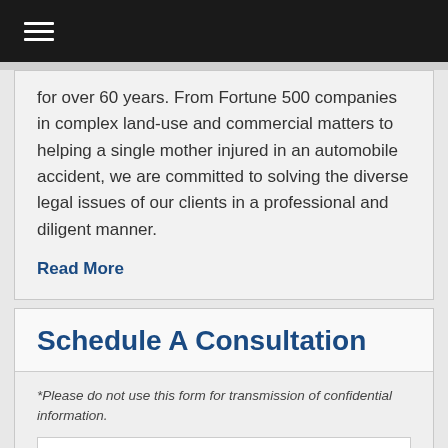Navigation menu
for over 60 years. From Fortune 500 companies in complex land-use and commercial matters to helping a single mother injured in an automobile accident, we are committed to solving the diverse legal issues of our clients in a professional and diligent manner.
Read More
Schedule A Consultation
*Please do not use this form for transmission of confidential information.
Name